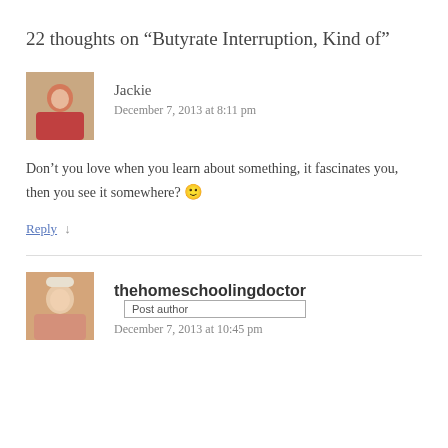22 thoughts on “Butyrate Interruption, Kind of”
[Figure (photo): Avatar photo of commenter Jackie - a woman with reddish hair]
Jackie
December 7, 2013 at 8:11 pm
Don’t you love when you learn about something, it fascinates you, then you see it somewhere? 🙂
Reply ↓
[Figure (photo): Avatar photo of thehomeschoolingdoctor - a woman with a white headband]
thehomeschoolingdoctor  Post author
December 7, 2013 at 10:45 pm